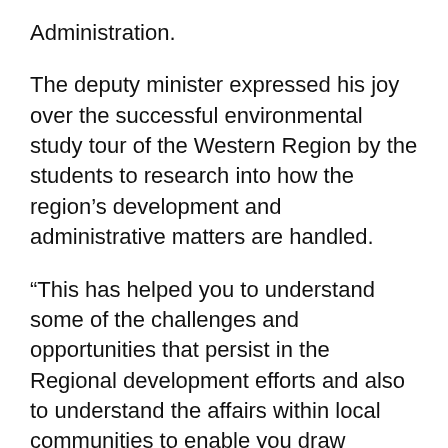Administration.
The deputy minister expressed his joy over the successful environmental study tour of the Western Region by the students to research into how the region's development and administrative matters are handled.
“This has helped you to understand some of the challenges and opportunities that persist in the Regional development efforts and also to understand the affairs within local communities to enable you draw relevant operational plans in the course of performing your duties in such environment” he said.